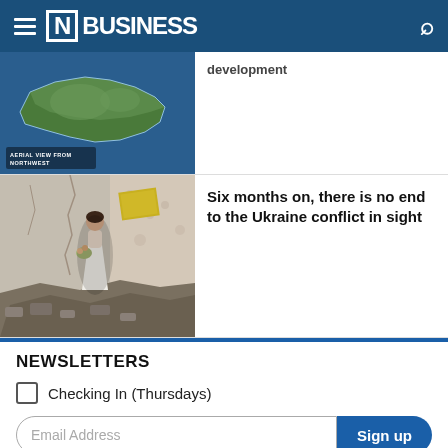[N] BUSINESS
development
[Figure (photo): Aerial map view of Crimea peninsula from northwest, showing coastline and terrain]
Six months on, there is no end to the Ukraine conflict in sight
[Figure (photo): Woman in white wedding dress holding bouquet stands in a war-damaged, rubble-filled room in Ukraine]
NEWSLETTERS
Checking In (Thursdays)
Email Address